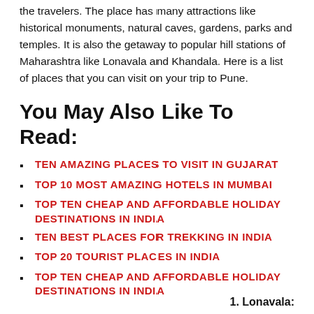the travelers. The place has many attractions like historical monuments, natural caves, gardens, parks and temples. It is also the getaway to popular hill stations of Maharashtra like Lonavala and Khandala. Here is a list of places that you can visit on your trip to Pune.
You May Also Like To Read:
TEN AMAZING PLACES TO VISIT IN GUJARAT
TOP 10 MOST AMAZING HOTELS IN MUMBAI
TOP TEN CHEAP AND AFFORDABLE HOLIDAY DESTINATIONS IN INDIA
TEN BEST PLACES FOR TREKKING IN INDIA
TOP 20 TOURIST PLACES IN INDIA
TOP TEN CHEAP AND AFFORDABLE HOLIDAY DESTINATIONS IN INDIA
1. Lonavala: